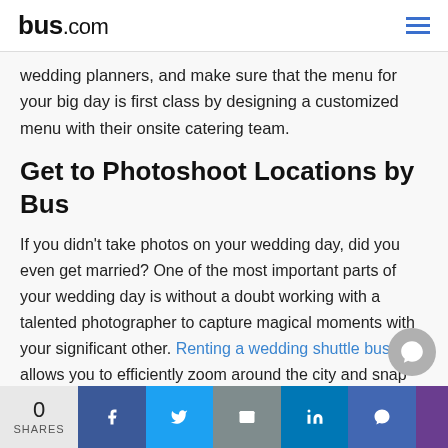bus.com
wedding planners, and make sure that the menu for your big day is first class by designing a customized menu with their onsite catering team.
Get to Photoshoot Locations by Bus
If you didn't take photos on your wedding day, did you even get married? One of the most important parts of your wedding day is without a doubt working with a talented photographer to capture magical moments with your significant other. Renting a wedding shuttle bus allows you to efficiently zoom around the city and snap pictures with your favourite iconic Los Angeles landmarks.
Santa Monica Pier
0 SHARES | Facebook | Twitter | Email | LinkedIn | Messenger